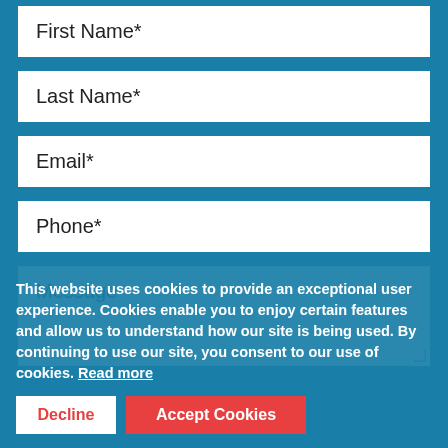First Name*
Last Name*
Email*
Phone*
Message
This website uses cookies to provide an exceptional user experience. Cookies enable you to enjoy certain features and allow us to understand how our site is being used. By continuing to use our site, you consent to our use of cookies. Read more
Decline
Accept Cookies